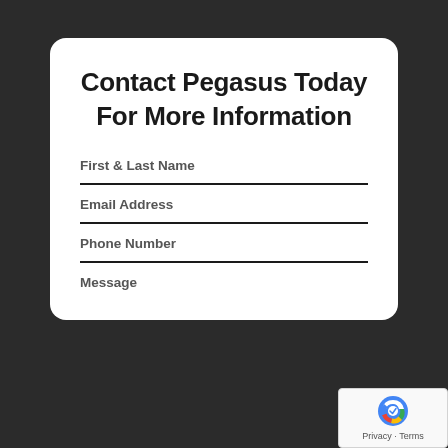Contact Pegasus Today For More Information
First & Last Name
Email Address
Phone Number
Message